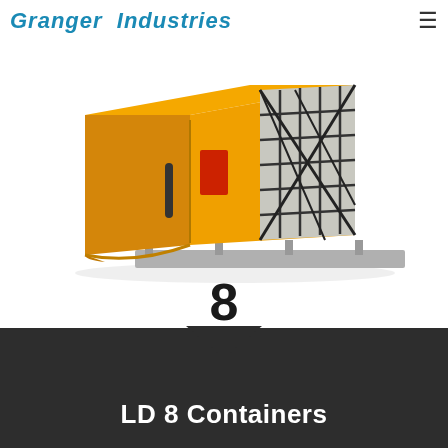Granger Industries
[Figure (photo): Yellow LD 8 air cargo container with a side door handle, red label/tag, and a net-covered open face on a metal pallet base, photographed on a white background.]
8
LD 8 Containers